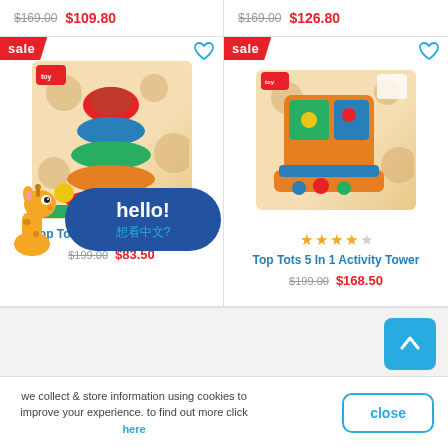$169.00  $109.80 | $169.00  $126.80
[Figure (screenshot): Two toy product cards with sale badges. Left: Top Tots Roll Around Tower stacked rings toy. Right: Top Tots 5 In 1 Activity Tower with 4-star rating.]
Top Tots Roll Around Tower
$199.00  $83.50
Top Tots 5 In 1 Activity Tower
$199.00  $168.50
[Figure (illustration): Hello bubble with giraffe mascot and Chinese text 想看中文?]
we collect & store information using cookies to improve your experience. to find out more click here
close